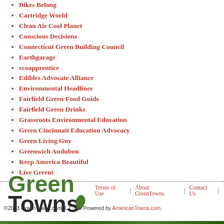Bikes Belong
Cartridge World
Clean Air Cool Planet
Conscious Decisions
Connecticut Green Building Council
Earthgarage
ecoapprentice
Edibles Advocate Alliance
Environmental Headlines
Fairfield Green Food Guide
Fairfield Green Drinks
Grassroots Environmental Education
Green Cincinnati Education Advocacy
Green Living Guy
Greenwich Audubon
Keep America Beautiful
Live Green!
Terms of Use | About GreenTowns | Contact Us | ©2013 GreenTowns.com, L.L.C>. Powered by AmericanTowns.com.